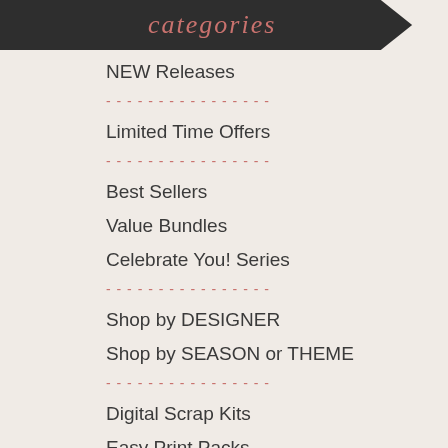categories
NEW Releases
Limited Time Offers
Best Sellers
Value Bundles
Celebrate You! Series
Shop by DESIGNER
Shop by SEASON or THEME
Digital Scrap Kits
Easy Print Packs
Paper Packs